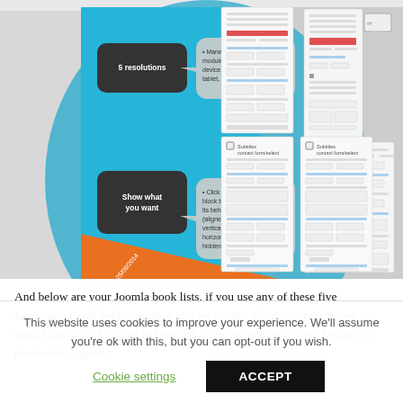[Figure (infographic): Joomla website builder infographic showing '5 resolutions' and 'Show what you want' features with device mockups including phone, tablet, computer layouts. Blue and orange color scheme with text bubbles explaining module management and block behavior (aligned vertically, horizontally, hidden). Shows multiple page layout screenshots on the right side.]
And below are your Joomla book lists, if you use any of these five languages: Good books can help you get further along the road: If you would like to try building websites as a freelancer or give your business a professional quality
This website uses cookies to improve your experience. We'll assume you're ok with this, but you can opt-out if you wish.
Cookie settings
ACCEPT